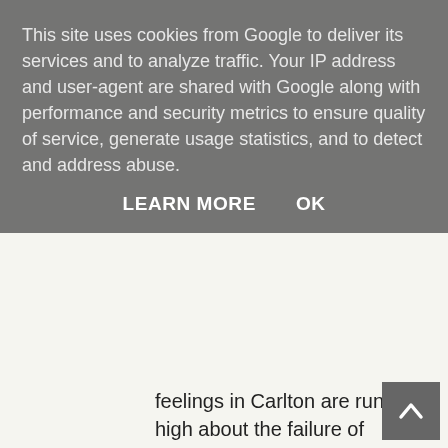This site uses cookies from Google to deliver its services and to analyze traffic. Your IP address and user-agent are shared with Google along with performance and security metrics to ensure quality of service, generate usage statistics, and to detect and address abuse.
LEARN MORE   OK
feelings in Carlton are running high about the failure of Seckford to consult them about the use of the primary school and legitimate concerns about traffic and noise from local residents. Seckford could well have a second Suffolk Town engaged in a battle with them following the meeting on Sunday.
That is not the only risk for Seckford as a judicial review into the consultation and the impact of the proposed free school on Sir John Leman and other